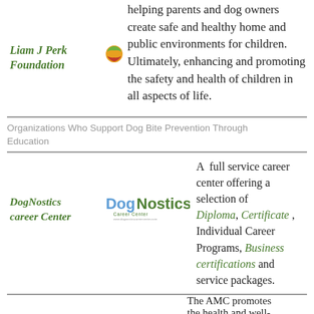helping parents and dog owners create safe and healthy home and public environments for children. Ultimately, enhancing and promoting the safety and health of children in all aspects of life.
Liam J Perk Foundation
Organizations Who Support Dog Bite Prevention Through Education
DogNostics career Center
[Figure (logo): DogNostics Career Center logo with green and blue text]
A full service career center offering a selection of Diploma, Certificate , Individual Career Programs, Business certifications and service packages.
The AMC promotes the health and well-